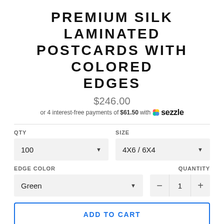PREMIUM SILK LAMINATED POSTCARDS WITH COLORED EDGES
$246.00
or 4 interest-free payments of $61.50 with Sezzle
QTY
SIZE
100
4X6 / 6X4
EDGE COLOR
QUANTITY
Green
1
ADD TO CART